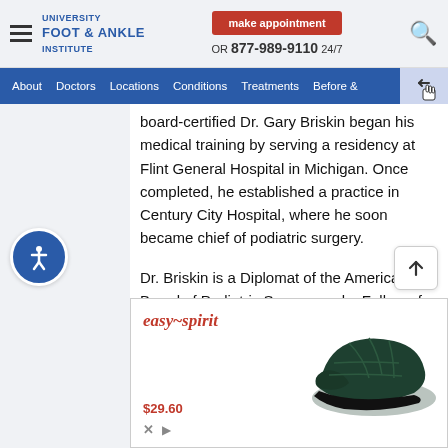University Foot & Ankle Institute — make appointment — OR 877-989-9110 24/7
About | Doctors | Locations | Conditions | Treatments | Before &
board-certified Dr. Gary Briskin began his medical training by serving a residency at Flint General Hospital in Michigan. Once completed, he established a practice in Century City Hospital, where he soon became chief of podiatric surgery.
Dr. Briskin is a Diplomat of the American Board of Podiatric Surgery and a Fellow of the American College of Foot and Ankle Surgeons. He also serves as an
[Figure (screenshot): Easy Spirit shoe advertisement showing a dark green slip-on shoe with price $29.60]